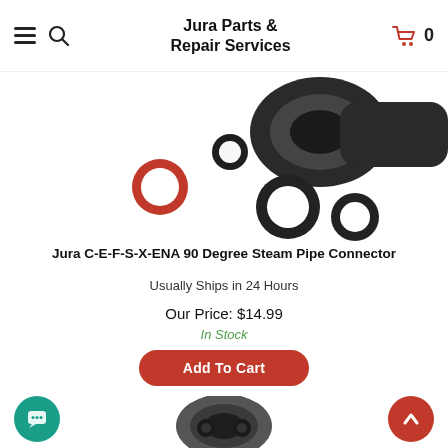Jura Parts & Repair Services
[Figure (photo): Close-up photo of rubber O-rings and seals, including a red O-ring and several black O-rings of various sizes, scattered on a white background. A partial view of a black connector piece is visible.]
Jura C-E-F-S-X-ENA 90 Degree Steam Pipe Connector
Usually Ships in 24 Hours
Our Price: $14.99
In Stock
Add To Cart
[Figure (photo): Partial view of a dark grey plastic pipe connector or fitting, showing a round opening, displayed at the bottom center of the page.]